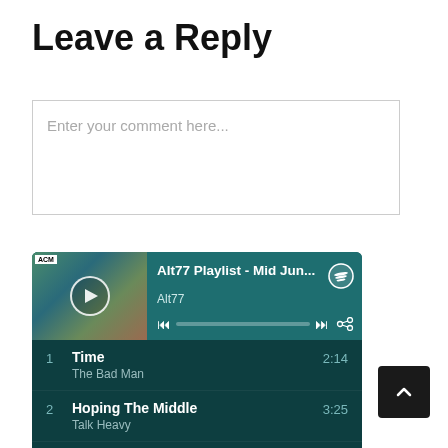Leave a Reply
Enter your comment here...
[Figure (screenshot): Spotify embedded playlist widget showing 'Alt77 Playlist - Mid Jun...' by Alt77 with playback controls and tracklist: 1. Time - The Bad Man 2:14, 2. Hoping The Middle - Talk Heavy 3:25, 3. Again And - A Case of Mistaken Identity 1:58, 4. Girl Called K... 4:10]
[Figure (other): Back to top button with upward arrow, dark background]